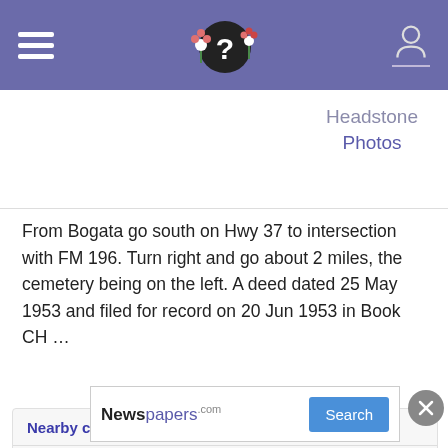Navigation bar with hamburger menu, logo, and user icon
Headstone
Photos
From Bogata go south on Hwy 37 to intersection with FM 196. Turn right and go about 2 miles, the cemetery being on the left. A deed dated 25 May 1953 and filed for record on 20 Jun 1953 in Book CH …
Read More
Nearby cemeteries
Ringo Cemetery
, Red River County, Texas, USA
Newspapers Search
1.8 mi